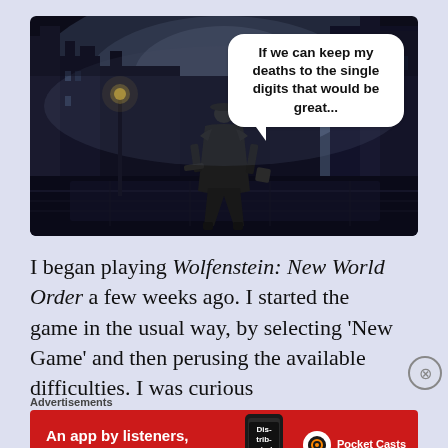[Figure (screenshot): Dark gothic video game screenshot (Bloodborne-style) showing a hunter character from behind in a dark, foggy Victorian city street. A speech bubble reads: 'If we can keep my deaths to the single digits that would be great...']
I began playing Wolfenstein: New World Order a few weeks ago. I started the game in the usual way, by selecting 'New Game' and then perusing the available difficulties. I was curious
Advertisements
[Figure (illustration): Red advertisement banner for Pocket Casts app reading 'An app by listeners, for listeners.' with Pocket Casts logo and a phone showing 'Distributed' text]